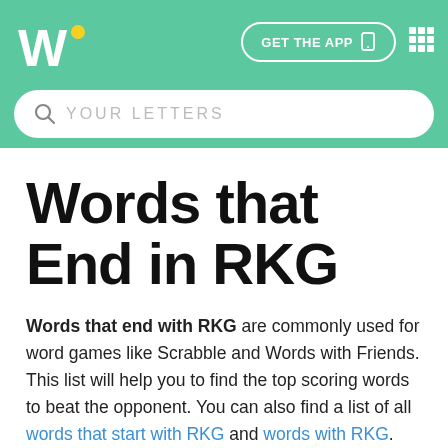W GET THE APP [grid icon]
Words that End in RKG
Words that end with RKG are commonly used for word games like Scrabble and Words with Friends. This list will help you to find the top scoring words to beat the opponent. You can also find a list of all words that start with RKG and words with RKG. Try our five letter words ending with RKG page if